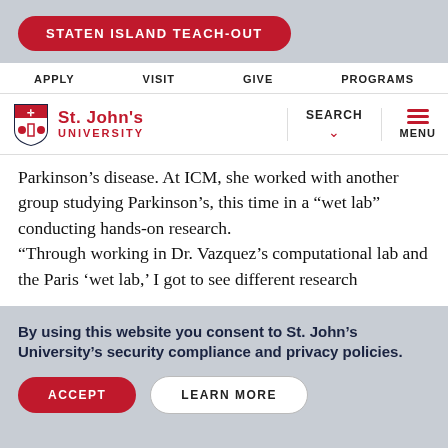STATEN ISLAND TEACH-OUT
APPLY   VISIT   GIVE   PROGRAMS
[Figure (logo): St. John's University logo with shield and red text]
Parkinson's disease. At ICM, she worked with another group studying Parkinson's, this time in a "wet lab" conducting hands-on research.
“Through working in Dr. Vazquez’s computational lab and the Paris ‘wet lab,’ I got to see different research
By using this website you consent to St. John’s University’s security compliance and privacy policies.